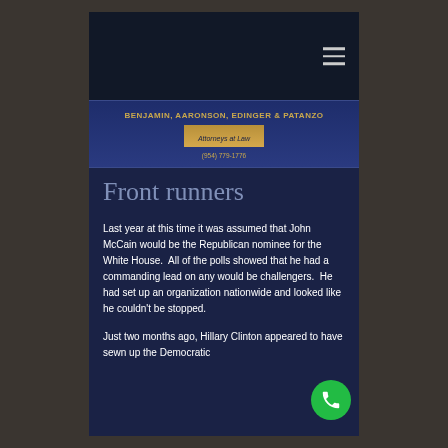[Figure (screenshot): Dark header bar with hamburger menu icon (three horizontal lines) on the right side]
BENJAMIN, AARONSON, EDINGER & PATANZO — Attorneys at Law — (954) 779-1776
Front runners
Last year at this time it was assumed that John McCain would be the Republican nominee for the White House.  All of the polls showed that he had a commanding lead on any would be challengers.  He had set up an organization nationwide and looked like he couldn't be stopped.
Just two months ago, Hillary Clinton appeared to have sewn up the Democratic